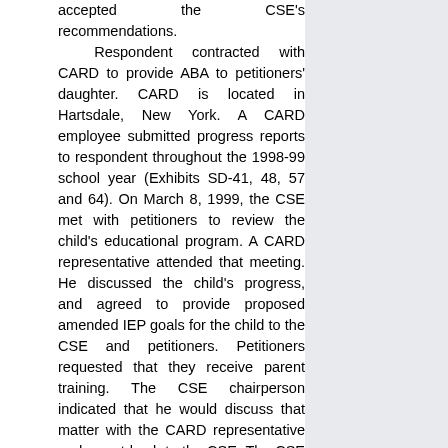accepted the CSE's recommendations.

Respondent contracted with CARD to provide ABA to petitioners' daughter. CARD is located in Hartsdale, New York. A CARD employee submitted progress reports to respondent throughout the 1998-99 school year (Exhibits SD-41, 48, 57 and 64). On March 8, 1999, the CSE met with petitioners to review the child's educational program. A CARD representative attended that meeting. He discussed the child's progress, and agreed to provide proposed amended IEP goals for the child to the CSE and petitioners. Petitioners requested that they receive parent training. The CSE chairperson indicated that he would discuss that matter with the CARD representative and report back to the CSE. The CSE considered, but denied,